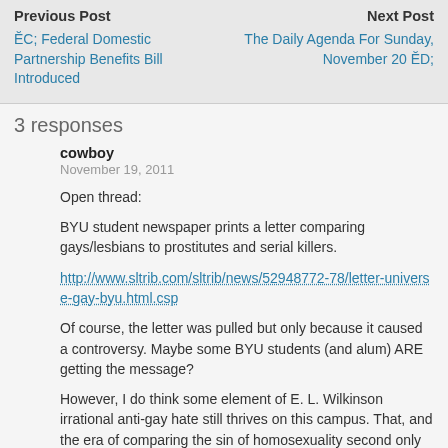Previous Post
Next Post
< Federal Domestic Partnership Benefits Bill Introduced
The Daily Agenda For Sunday, November 20 >
3 responses
cowboy
November 19, 2011
Open thread:
BYU student newspaper prints a letter comparing gays/lesbians to prostitutes and serial killers.
http://www.sltrib.com/sltrib/news/52948772-78/letter-universe-gay-byu.html.csp
Of course, the letter was pulled but only because it caused a controversy. Maybe some BYU students (and alum) ARE getting the message?
However, I do think some element of E. L. Wilkinson irrational anti-gay hate still thrives on this campus. That, and the era of comparing the sin of homosexuality second only to murder.